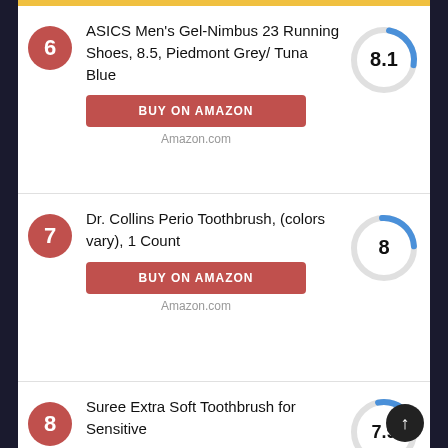6 - ASICS Men's Gel-Nimbus 23 Running Shoes, 8.5, Piedmont Grey/ Tuna Blue - Score: 8.1 - BUY ON AMAZON - Amazon.com
7 - Dr. Collins Perio Toothbrush, (colors vary), 1 Count - Score: 8 - BUY ON AMAZON - Amazon.com
8 - Suree Extra Soft Toothbrush for Sensitive - Score: 7.9